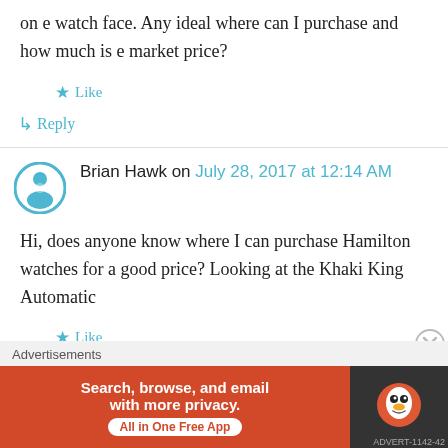on e watch face. Any ideal where can I purchase and how much is e market price?
★ Like
↳ Reply
Brian Hawk on July 28, 2017 at 12:14 AM
Hi, does anyone know where I can purchase Hamilton watches for a good price? Looking at the Khaki King Automatic
★ Like
↳ Reply
Advertisements
[Figure (other): DuckDuckGo advertisement banner: Search, browse, and email with more privacy. All in One Free App. Shows DuckDuckGo logo on dark background.]